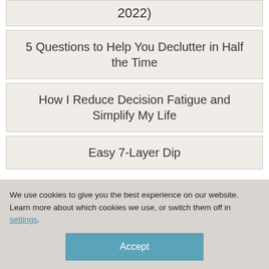2022)
5 Questions to Help You Declutter in Half the Time
How I Reduce Decision Fatigue and Simplify My Life
Easy 7-Layer Dip
We use cookies to give you the best experience on our website.
Learn more about which cookies we use, or switch them off in settings.
Accept